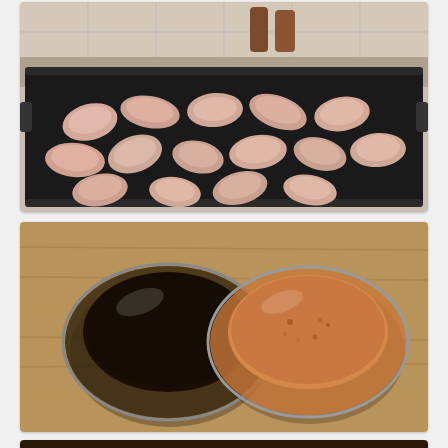[Figure (photo): Raw chicken wings arranged in a large black baking/roasting pan on a stovetop or counter, with pepper mills visible in the background on a tiled surface.]
[Figure (photo): Two glass bowls on a wooden cutting board: one containing dark soy sauce on the left, and one containing a lighter orange/tan sauce (possibly a garlic or chili sauce) on the right.]
[Figure (photo): Partial view of cooked chicken wings in a pan, cropped at bottom of page.]